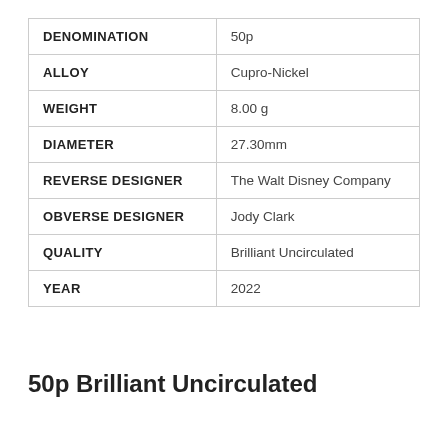|  |  |
| --- | --- |
| DENOMINATION | 50p |
| ALLOY | Cupro-Nickel |
| WEIGHT | 8.00 g |
| DIAMETER | 27.30mm |
| REVERSE DESIGNER | The Walt Disney Company |
| OBVERSE DESIGNER | Jody Clark |
| QUALITY | Brilliant Uncirculated |
| YEAR | 2022 |
50p Brilliant Uncirculated